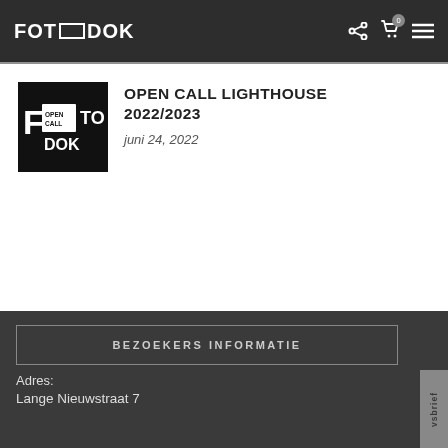FOTODOK
[Figure (logo): FOTODOK logo with OPEN CALL text inside a rectangular box]
OPEN CALL LIGHTHOUSE 2022/2023
juni 24, 2022
BEZOEKERS INFORMATIE
Adres:
Lange Nieuwstraat 7
vsbrief